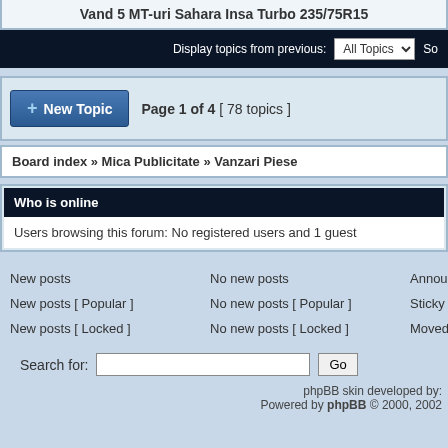Vand 5 MT-uri Sahara Insa Turbo 235/75R15
Display topics from previous: All Topics  Sort
Page 1 of 4 [ 78 topics ]
Board index » Mica Publicitate » Vanzari Piese
Who is online
Users browsing this forum: No registered users and 1 guest
New posts
No new posts
Announcement
New posts [ Popular ]
No new posts [ Popular ]
Sticky
New posts [ Locked ]
No new posts [ Locked ]
Moved topic
Search for:
phpBB skin developed by:
Powered by phpBB © 2000, 2002